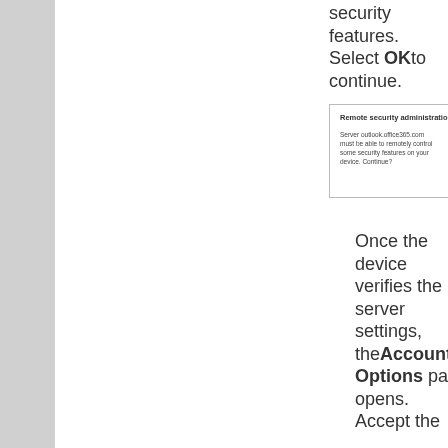security features. Select OK to continue.
[Figure (screenshot): Dialog box titled 'Remote security administration' with message 'Server outlook.office365.com must be able to remotely control some security features on your device. Continue?' and buttons CANCEL and OK]
5. Once the device verifies the server settings, the Account Options page opens. Accept the